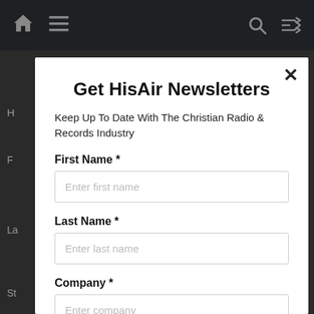[Figure (screenshot): Dark navigation bar with home icon, hamburger menu icon, search icon, and shuffle icon on a dark background]
Get HisAir Newsletters
Keep Up To Date With The Christian Radio & Records Industry
First Name *
Enter first name
Last Name *
Enter last name
Company *
Enter company
Position *